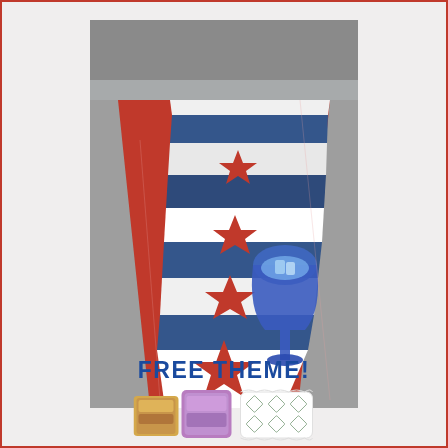[Figure (photo): Patriotic quilted table runner with red, white, and blue star appliqués and red border, displayed on a table with a blue glass goblet with ice]
FREE THEME!
[Figure (photo): Two small decorative pillows with colorful patterns on the left and one white pillow with diamond pattern on the right]